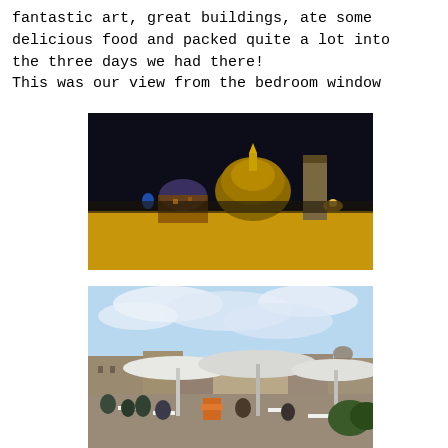fantastic art, great buildings, ate some delicious food and packed quite a lot into the three days we had there!
This was our view from the bedroom window
[Figure (photo): Night view from a bedroom window of Florence, showing the illuminated dome of the Florence Cathedral (Duomo) and Giotto's bell tower against a dark sky, with a golden/yellow building facade in the foreground.]
[Figure (photo): Daytime rooftop terrace restaurant scene in Florence with white umbrellas, diners seated at tables, and a view of the city buildings and blue sky with clouds in the background.]